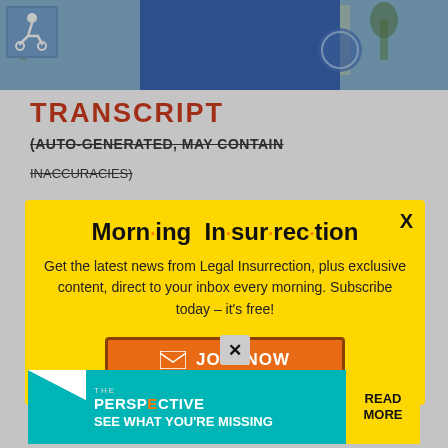[Figure (photo): Top portion of a person wearing a blue shirt, outdoors near a building. A wheelchair accessibility icon is visible in the upper left corner.]
TRANSCRIPT
(AUTO-GENERATED, MAY CONTAIN
[Figure (infographic): Yellow modal popup for Morning Insurrection newsletter subscription. Title reads 'Morn·ing In·sur·rec·tion' with orange dots. Body text: 'Get the latest news from Legal Insurrection, plus exclusive content, direct to your inbox every morning. Subscribe today – it's free!' Orange JOIN NOW button with envelope icon. Black X close button in top right corner.]
CriticalRace.org website. Founder of the Rhode Island-based Legal Insurrection Foundation. His work
going
[Figure (infographic): Bottom advertisement banner for 'THE PERSPECTIVE' with teal background. Text reads 'SEE WHAT YOU'RE MISSING' in white. Yellow right section with 'READ MORE' text in black.]